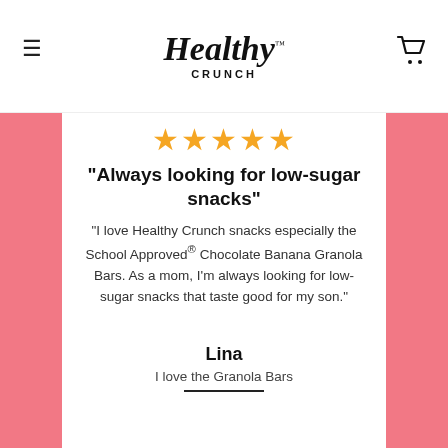Healthy Crunch™ — CRUNCH
[Figure (other): Five gold star rating icons]
"Always looking for low-sugar snacks"
"I love Healthy Crunch snacks especially the School Approved® Chocolate Banana Granola Bars. As a mom, I'm always looking for low-sugar snacks that taste good for my son."
Lina
I love the Granola Bars